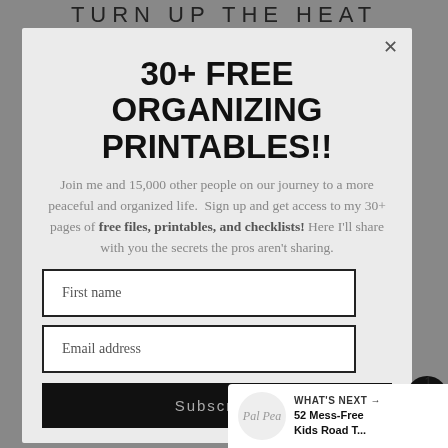TURN UP THE HEAT
30+ FREE ORGANIZING PRINTABLES!!
Join me and 15,000 other people on our journey to a more peaceful and organized life. Sign up and get access to my 30+ pages of free files, printables, and checklists! Here I'll share with you the secrets the pros aren't sharing.
First name
Email address
Subscribe
WHAT'S NEXT → 52 Mess-Free Kids Road T...